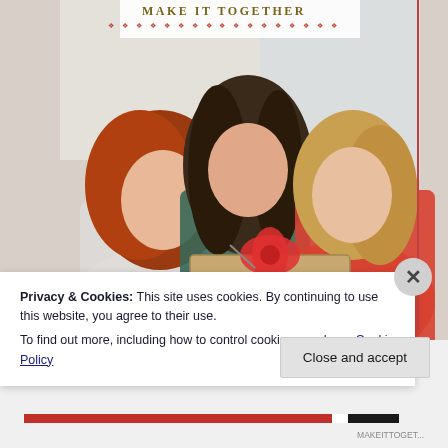MAKE IT TOGETHER
[Figure (photo): Three smiling women gathered around a wrapped gift with a red bow, appearing to open or wrap it together. Left woman has red hair and white top, center woman has dark brown long hair and teal top, right woman has blonde hair and red sweater.]
Privacy & Cookies: This site uses cookies. By continuing to use this website, you agree to their use.
To find out more, including how to control cookies, see here: Cookie Policy
Close and accept